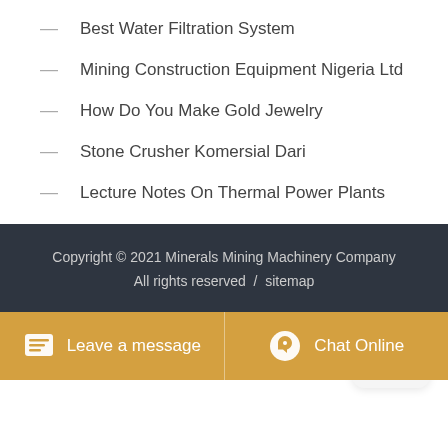Best Water Filtration System
Mining Construction Equipment Nigeria Ltd
How Do You Make Gold Jewelry
Stone Crusher Komersial Dari
Lecture Notes On Thermal Power Plants
Power Tiller Mounted Direct Rice Seeder
Mobile Crusher Europe Used
[Figure (logo): Rocket icon widget button, dark rocket silhouette on light gray rounded square background]
Copyright © 2021 Minerals Mining Machinery Company
All rights reserved  /  sitemap
Leave a message   Chat Online